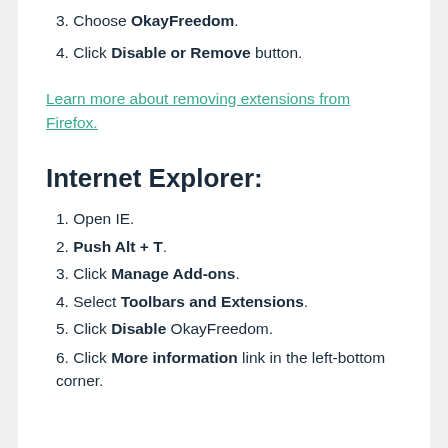3. Choose OkayFreedom.
4. Click Disable or Remove button.
Learn more about removing extensions from Firefox.
Internet Explorer:
1. Open IE.
2. Push Alt + T.
3. Click Manage Add-ons.
4. Select Toolbars and Extensions.
5. Click Disable OkayFreedom.
6. Click More information link in the left-bottom corner.